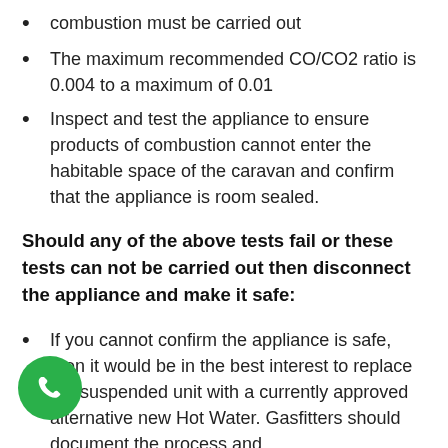combustion must be carried out
The maximum recommended CO/CO2 ratio is 0.004 to a maximum of 0.01
Inspect and test the appliance to ensure products of combustion cannot enter the habitable space of the caravan and confirm that the appliance is room sealed.
Should any of the above tests fail or these tests can not be carried out then disconnect the appliance and make it safe:
If you cannot confirm the appliance is safe, then it would be in the best interest to replace the suspended unit with a currently approved alternative new Hot Water. Gasfitters should document the process and